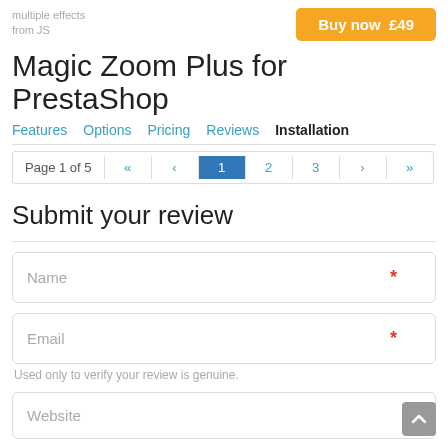Magic Zoom Plus for PrestaShop
Features  Options  Pricing  Reviews  Installation
Page 1 of 5  «  ‹  1  2  3  ›  »
Submit your review
Name *
Email *
Used only to verify your review is genuine.
Website
Review Title